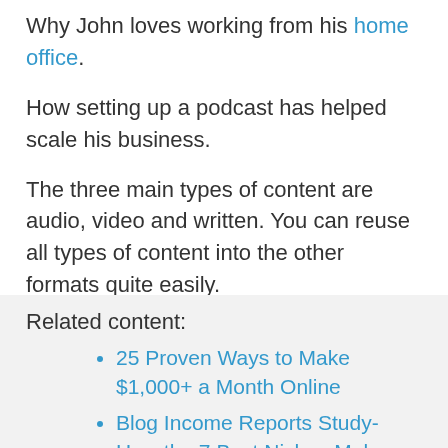Why John loves working from his home office.
How setting up a podcast has helped scale his business.
The three main types of content are audio, video and written. You can reuse all types of content into the other formats quite easily.
Related content:
25 Proven Ways to Make $1,000+ a Month Online
Blog Income Reports Study- How the 7 Best Niches Make Money
How to Use Pinterest for Blogging- The Ultimate Guide